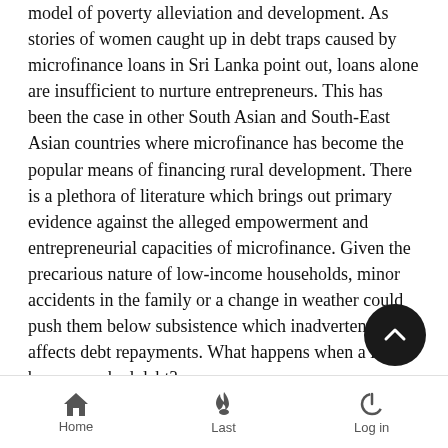model of poverty alleviation and development. As stories of women caught up in debt traps caused by microfinance loans in Sri Lanka point out, loans alone are insufficient to nurture entrepreneurs. This has been the case in other South Asian and South-East Asian countries where microfinance has become the popular means of financing rural development. There is a plethora of literature which brings out primary evidence against the alleged empowerment and entrepreneurial capacities of microfinance. Given the precarious nature of low-income households, minor accidents in the family or a change in weather could push them below subsistence which inadvertently affects debt repayments. What happens when a loan becomes a bad debt?
A sovereign state has several options to deal with unsustainable public debt. A State could either opt for debt restructuring, request debt relief or choose to debt default. However, the households are left with no alternative but to increase borrowing, either from other microfinance companies or from
Home   Last   Log in